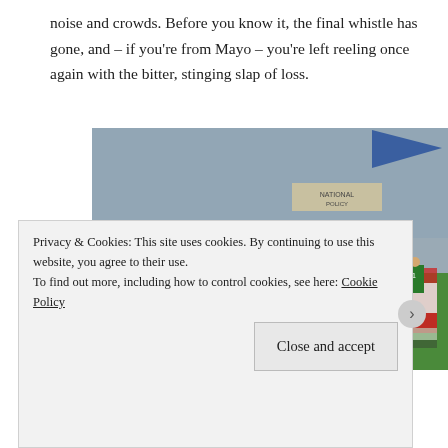noise and crowds. Before you know it, the final whistle has gone, and – if you're from Mayo – you're left reeling once again with the bitter, stinging slap of loss.
[Figure (photo): A Gaelic football team standing in a line on a pitch with arms around each other, facing away from camera, wearing green and red jerseys with white shorts. A crowd fills the stadium stands behind them. A flag visible in the background.]
Privacy & Cookies: This site uses cookies. By continuing to use this website, you agree to their use.
To find out more, including how to control cookies, see here: Cookie Policy
Close and accept